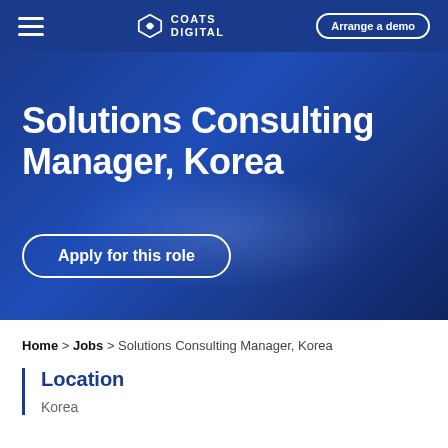Coats Digital — Arrange a demo
Solutions Consulting Manager, Korea
Apply for this role
Home > Jobs > Solutions Consulting Manager, Korea
Location
Korea